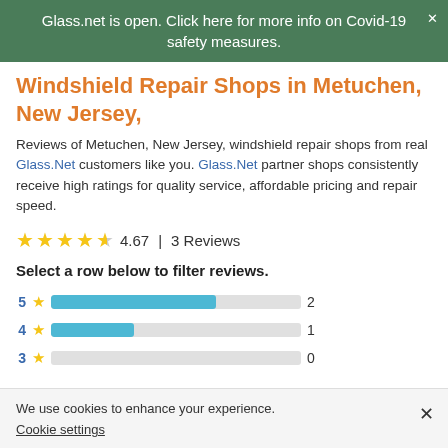Glass.net is open. Click here for more info on Covid-19 safety measures.
Windshield Repair Shops in Metuchen, New Jersey,
Reviews of Metuchen, New Jersey, windshield repair shops from real Glass.Net customers like you. Glass.Net partner shops consistently receive high ratings for quality service, affordable pricing and repair speed.
4.67 | 3 Reviews
Select a row below to filter reviews.
[Figure (bar-chart): Rating distribution]
We use cookies to enhance your experience.
Cookie settings